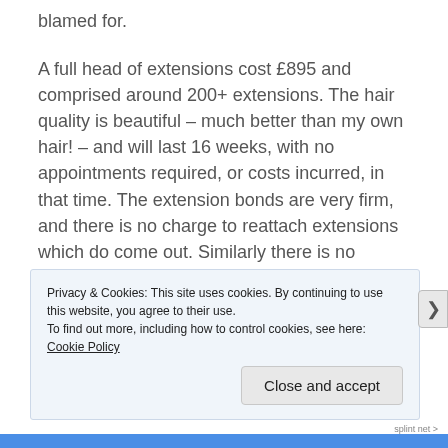blamed for.
A full head of extensions cost £895 and comprised around 200+ extensions. The hair quality is beautiful – much better than my own hair! – and will last 16 weeks, with no appointments required, or costs incurred, in that time. The extension bonds are very firm, and there is no charge to reattach extensions which do come out. Similarly there is no charge to cut my hair in between appointments, making this system far cheaper than the Intralace.
P...
Privacy & Cookies: This site uses cookies. By continuing to use this website, you agree to their use.
To find out more, including how to control cookies, see here: Cookie Policy
Close and accept